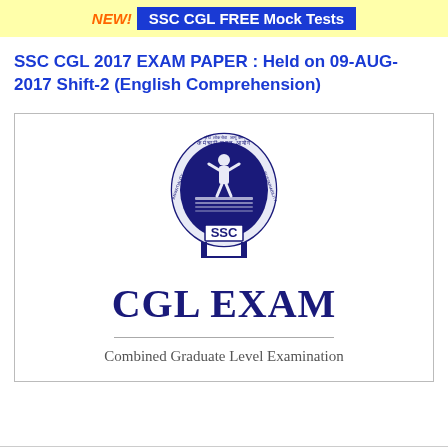NEW! SSC CGL FREE Mock Tests
SSC CGL 2017 EXAM PAPER : Held on 09-AUG-2017 Shift-2 (English Comprehension)
[Figure (logo): SSC (Staff Selection Commission) official logo with emblem, text in Hindi 'कर्मचारी चयन आयोग', and 'SSC' text below, followed by large 'CGL EXAM' text and 'Combined Graduate Level Examination' subtitle inside a bordered card.]